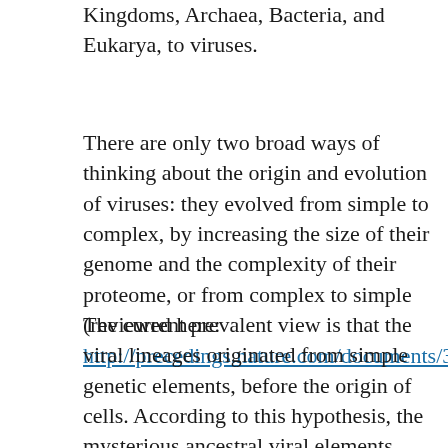Kingdoms, Archaea, Bacteria, and Eukarya, to viruses.
There are only two broad ways of thinking about the origin and evolution of viruses: they evolved from simple to complex, by increasing the size of their genome and the complexity of their proteome, or from complex to simple (reviewed here: http://precedings.nature.com/documents/3886/version/1).
The current prevalent view is that the viral lineages originated from simple genetic elements, before the origin of cells. According to this hypothesis, the mysterious ancestral viral elements evolved by acquiring new